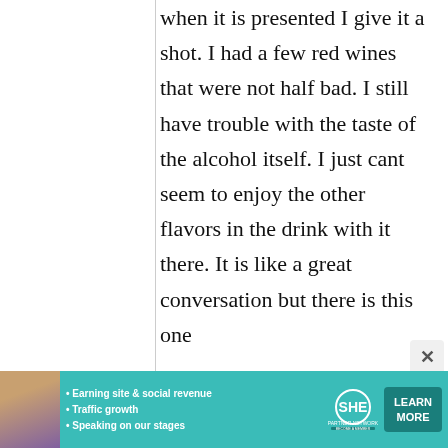when it is presented I give it a shot. I had a few red wines that were not half bad. I still have trouble with the taste of the alcohol itself. I just cant seem to enjoy the other flavors in the drink with it there. It is like a great conversation but there is this one
[Figure (photo): Advertisement banner for SHE Partner Network with a woman's photo, bullet points about earning site & social revenue, traffic growth, speaking on stages, and a Learn More button]